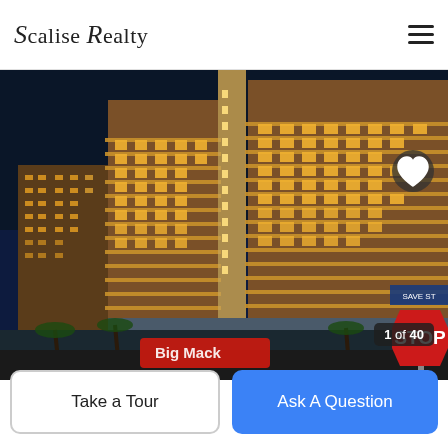Scalise Realty
[Figure (photo): Night photograph of a large high-rise condominium building illuminated with warm golden lights against a dark blue night sky, with palm trees visible at the base and a Big Mac or similar commercial sign visible at street level. A STOP sign is visible at the lower right corner.]
1 of 40
Take a Tour
Ask A Question